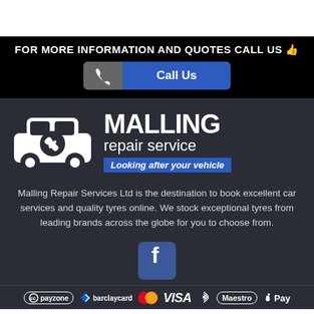FOR MORE INFORMATION AND QUOTES CALL US 👍
[Figure (illustration): Call Us button with phone icon in grey and blue]
[Figure (logo): Malling Repair Service logo with car and wrench icon, tagline: Looking after your vehicle]
Malling Repair Services Ltd is the destination to book excellent car services and quality tyres online. We stock exceptional tyres from leading brands across the globe for you to choose from.
[Figure (logo): Facebook button icon]
[Figure (logo): Payment logos: payzone, barclaycard, MasterCard, VISA, contactless, Maestro, Apple Pay]